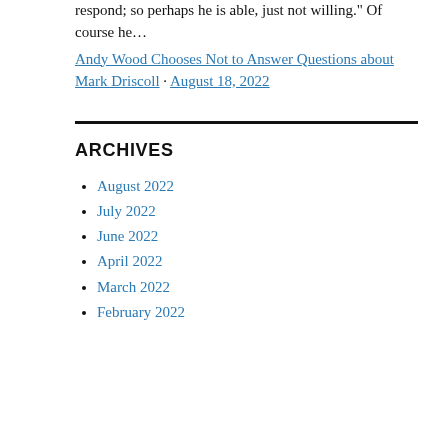respond; so perhaps he is able, just not willing." Of course he…
Andy Wood Chooses Not to Answer Questions about Mark Driscoll · August 18, 2022
ARCHIVES
August 2022
July 2022
June 2022
April 2022
March 2022
February 2022